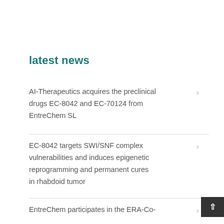latest news
AI-Therapeutics acquires the preclinical drugs EC-8042 and EC-70124 from EntreChem SL
EC-8042 targets SWI/SNF complex vulnerabilities and induces epigenetic reprogramming and permanent cures in rhabdoid tumor
EntreChem participates in the ERA-Co-